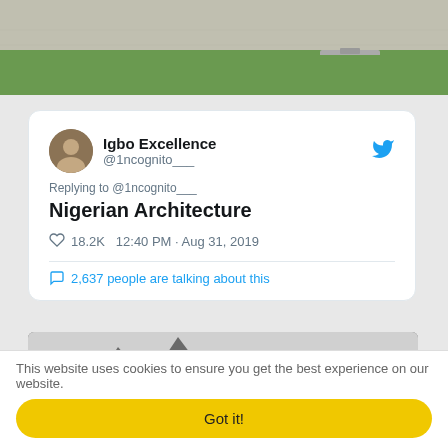[Figure (photo): Top portion of an outdoor photo showing a paved pathway and green grass/lawn area]
[Figure (screenshot): Tweet card from Igbo Excellence (@1ncognito___) replying to @1ncognito___ with text 'Nigerian Architecture', 18.2K likes, 12:40 PM Aug 31 2019, 2637 people talking about this]
[Figure (photo): Photo of a Nigerian building with distinctive angular/pointed roofline decorated with circular spiral patterns in concrete]
This website uses cookies to ensure you get the best experience on our website.
Got it!